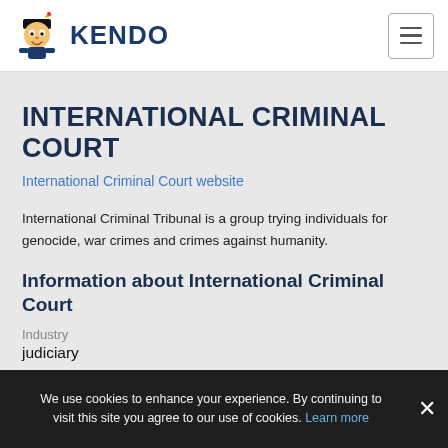KENDO
INTERNATIONAL CRIMINAL COURT
International Criminal Court website
International Criminal Tribunal is a group trying individuals for genocide, war crimes and crimes against humanity.
Information about International Criminal Court
Industry
judiciary
Number of employees
1001-5000
We use cookies to enhance your experience. By continuing to visit this site you agree to our use of cookies. Learn more